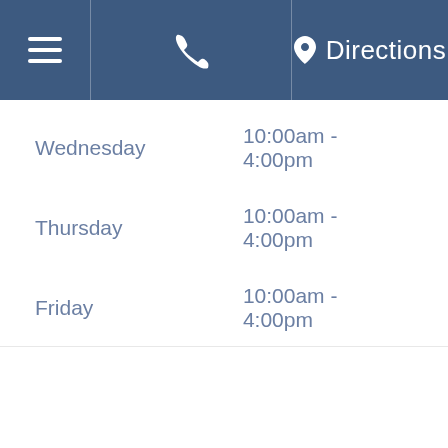Menu | Phone | Directions
| Day | Hours |
| --- | --- |
| Wednesday | 10:00am - 4:00pm |
| Thursday | 10:00am - 4:00pm |
| Friday | 10:00am - 4:00pm |